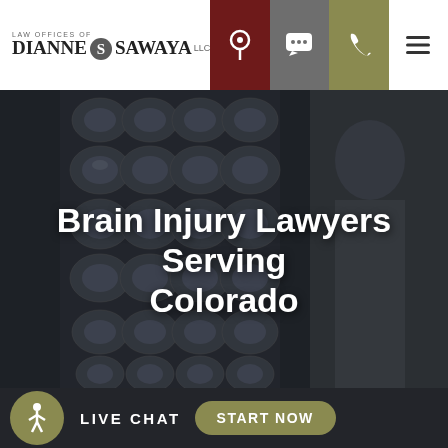Law Offices of Dianne Sawaya LLC — navigation bar with logo and icons
[Figure (photo): Background hero image showing brain MRI scans overlaid with a dark semi-transparent overlay, with a blurred figure of a medical professional in the background.]
Brain Injury Lawyers Serving Colorado
[Figure (infographic): Bottom bar with accessibility icon (person with circle), LIVE CHAT label, and START NOW button in olive/green color.]